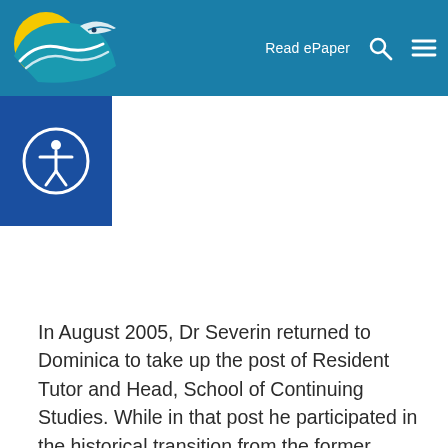Read ePaper
[Figure (logo): News website logo with stylized fish/wave and circular sun graphic in teal and yellow]
[Figure (illustration): Accessibility icon: white circle with person figure, on dark blue background square]
In August 2005, Dr Severin returned to Dominica to take up the post of Resident Tutor and Head, School of Continuing Studies. While in that post he participated in the historical transition from the former entities that comprised the Board for Non-Campus Countries and